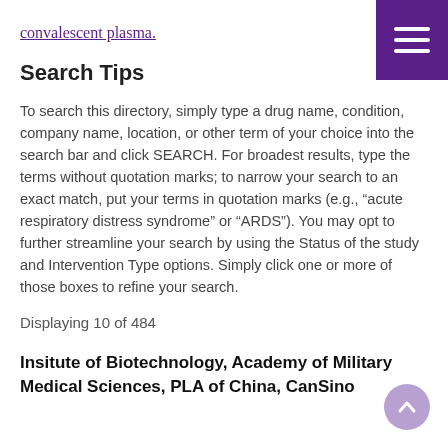convalescent plasma.
Search Tips
To search this directory, simply type a drug name, condition, company name, location, or other term of your choice into the search bar and click SEARCH. For broadest results, type the terms without quotation marks; to narrow your search to an exact match, put your terms in quotation marks (e.g., “acute respiratory distress syndrome” or “ARDS”). You may opt to further streamline your search by using the Status of the study and Intervention Type options. Simply click one or more of those boxes to refine your search.
Displaying 10 of 484
Insitute of Biotechnology, Academy of Military Medical Sciences, PLA of China, CanSino